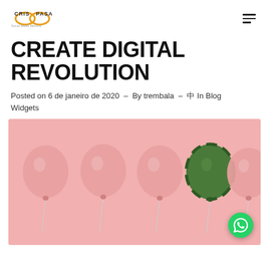CRIS PASA - Social Media Mentora
CREATE DIGITAL REVOLUTION
Posted on 6 de janeiro de 2020  -  By trembala  -  🏷  In Blog Widgets
[Figure (photo): Photo of five balloon-shaped objects against a pink background. Four are pink balloons and one (fourth from left) is a watermelon-patterned ball/balloon. They have strings hanging down.]